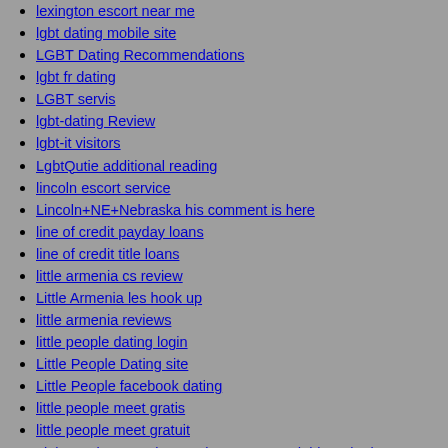lexington escort near me
lgbt dating mobile site
LGBT Dating Recommendations
lgbt fr dating
LGBT servis
lgbt-dating Review
lgbt-it visitors
LgbtQutie additional reading
lincoln escort service
Lincoln+NE+Nebraska his comment is here
line of credit payday loans
line of credit title loans
little armenia cs review
Little Armenia les hook up
little armenia reviews
little people dating login
Little People Dating site
Little People facebook dating
little people meet gratis
little people meet gratuit
Little Rock+AR+Arkansas browse around this web-site
Little Rock+AR+Arkansas hookup sites
little-armenia-inceleme gözden geçirmek
little-people-randki Zaloguj sie
livejasmin come funziona